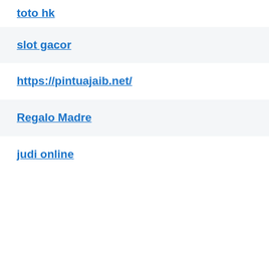toto hk
slot gacor
https://pintuajaib.net/
Regalo Madre
judi online